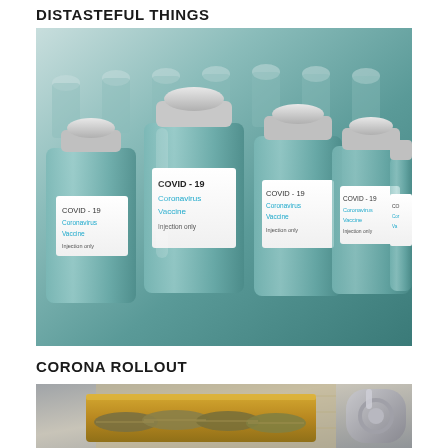DISTASTEFUL THINGS
[Figure (photo): Multiple COVID-19 Coronavirus Vaccine Injection only glass vials arranged in rows on a surface, photographed in a clinical/studio setting with teal-tinted glass and white labels]
CORONA ROLLOUT
[Figure (photo): Open tin can of sardines with visible fish arranged inside, on a gray surface, with a can opener visible on the right side]